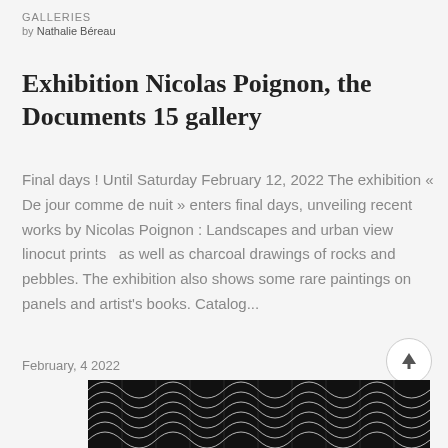GALLERIES
by Nathalie Béreau
Exhibition Nicolas Poignon, the Documents 15 gallery
Final days ! Until Saturday February 12, 2022 The exhibition « De jour comme de nuit » enters final days, unveiling recent works by Nicolas Poignon : Landscapes and urban view linocut prints  as well as charcoal drawings of rocks and pebbles. The exhibition also shows some rare paintings on panels and artist's books. Catalog...
February, 4 2022
[Figure (photo): Black and white linocut print artwork with intricate geometric and wave patterns]